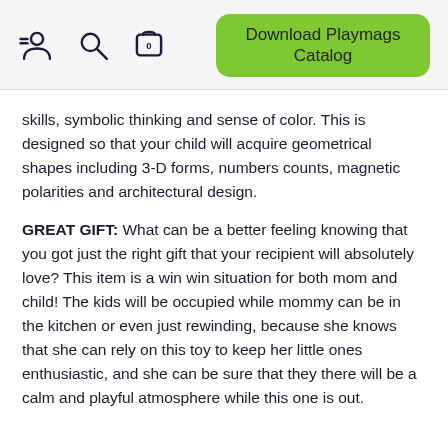[Figure (screenshot): Navigation header bar with user/search/cart icons and a green Download Playmags Catalog button]
skills, symbolic thinking and sense of color. This is designed so that your child will acquire geometrical shapes including 3-D forms, numbers counts, magnetic polarities and architectural design.
GREAT GIFT: What can be a better feeling knowing that you got just the right gift that your recipient will absolutely love? This item is a win win situation for both mom and child! The kids will be occupied while mommy can be in the kitchen or even just rewinding, because she knows that she can rely on this toy to keep her little ones enthusiastic, and she can be sure that they there will be a calm and playful atmosphere while this one is out.